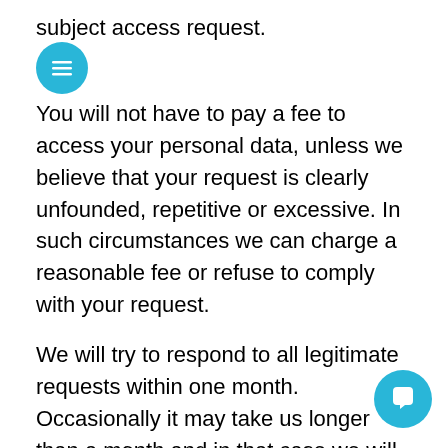subject access request.
You will not have to pay a fee to access your personal data, unless we believe that your request is clearly unfounded, repetitive or excessive. In such circumstances we can charge a reasonable fee or refuse to comply with your request.
We will try to respond to all legitimate requests within one month. Occasionally it may take us longer than a month and in that case we will notify you and keep you updated.
Telling us if information we hold is incorrect
You have the right to question any information we hold about you that you think is wrong or incomplete. Please contact us by emailing us at